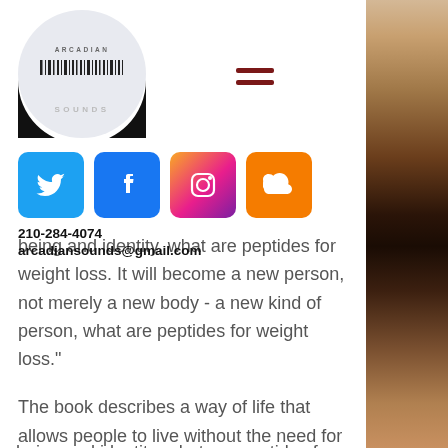[Figure (logo): Arcadian Sounds circular logo with text and barcode design, black and white]
[Figure (infographic): Hamburger menu icon with two dark red horizontal bars]
[Figure (infographic): Social media icons row: Twitter (blue bird), Facebook (blue f), Instagram (gradient camera), SoundCloud (orange cloud)]
210-284-4074
arcadiansounds@gmail.com
[Figure (photo): Dark moody photo strip on right edge showing a warm-toned blurred close-up]
being and identity, what are peptides for weight loss. It will become a new person, not merely a new body - a new kind of person, what are peptides for weight loss."
The book describes a way of life that allows people to live without the need for weights, which allowed us to become lean and slim again without the necessity of having to work with the traditional weight loss programs. And it sounds perfect, is peptides good for weight loss. I remember the first time one of my buddies at the gym told me they'd started